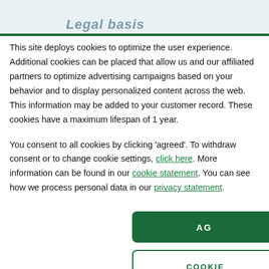Legal basis
This site deploys cookies to optimize the user experience. Additional cookies can be placed that allow us and our affiliated partners to optimize advertising campaigns based on your behavior and to display personalized content across the web. This information may be added to your customer record. These cookies have a maximum lifespan of 1 year.

You consent to all cookies by clicking 'agreed'. To withdraw consent or to change cookie settings, click here. More information can be found in our cookie statement. You can see how we process personal data in our privacy statement.